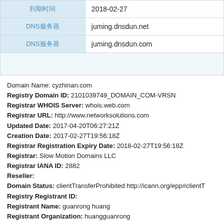| 到期时间 | 2018-02-27 |
| DNS服务器 | juming.dnsdun.net |
| DNS服务器 | juming.dnsdun.com |
|  |  |
Domain Name: cyzhinan.com
Registry Domain ID: 2101039749_DOMAIN_COM-VRSN
Registrar WHOIS Server: whois.web.com
Registrar URL: http://www.networksolutions.com
Updated Date: 2017-04-20T06:27:21Z
Creation Date: 2017-02-27T19:56:18Z
Registrar Registration Expiry Date: 2018-02-27T19:56:18Z
Registrar: Slow Motion Domains LLC
Registrar IANA ID: 2882
Reseller:
Domain Status: clientTransferProhibited http://icann.org/epp#clientT
Registry Registrant ID:
Registrant Name: guanrong huang
Registrant Organization: huangguanrong
Registrant Street: guipingshi,jintianzhen,48hao
Registrant City: guigang
Registrant State/Province:
Registrant Postal Code: 537200
Registrant Country: CN